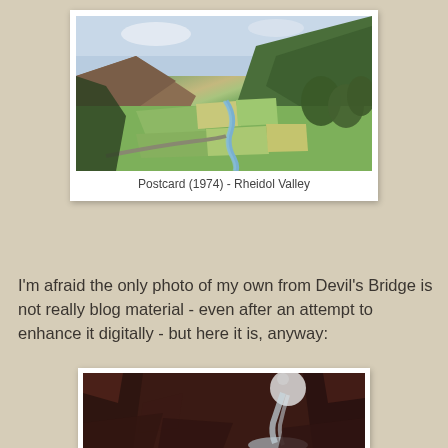[Figure (photo): Aerial postcard photo of Rheidol Valley showing green fields, a winding river, and forested hillsides, dated 1974]
Postcard (1974) -  Rheidol Valley
I'm afraid the only photo of my own from Devil's Bridge is not really blog material - even after an attempt to enhance it digitally - but here it is, anyway:
[Figure (photo): Dark, digitally enhanced photo of a rocky gorge with waterfall at Devil's Bridge, showing a person at the top]